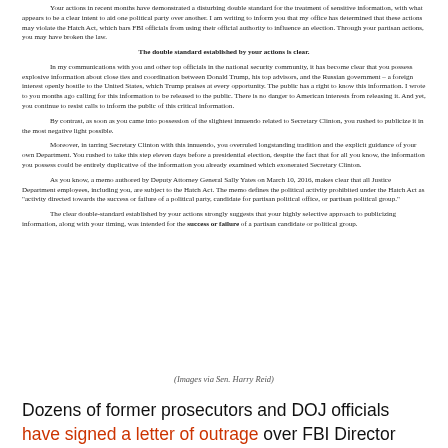Your actions in recent months have demonstrated a disturbing double standard for the treatment of sensitive information, with what appears to be a clear intent to aid one political party over another. I am writing to inform you that my office has determined that these actions may violate the Hatch Act, which bars FBI officials from using their official authority to influence an election. Through your partisan actions, you may have broken the law.
The double standard established by your actions is clear.
In my communications with you and other top officials in the national security community, it has become clear that you possess explosive information about close ties and coordination between Donald Trump, his top advisors, and the Russian government – a foreign interest openly hostile to the United States, which Trump praises at every opportunity. The public has a right to know this information. I wrote to you months ago calling for this information to be released to the public. There is no danger to American interests from releasing it. And yet, you continue to resist calls to inform the public of this critical information.
By contrast, as soon as you came into possession of the slightest innuendo related to Secretary Clinton, you rushed to publicize it in the most negative light possible.
Moreover, in tarring Secretary Clinton with this innuendo, you overruled longstanding tradition and the explicit guidance of your own Department. You rushed to take this step eleven days before a presidential election, despite the fact that for all you know, the information you possess could be entirely duplicative of the information you already examined which exonerated Secretary Clinton.
As you know, a memo authored by Deputy Attorney General Sally Yates on March 10, 2016, makes clear that all Justice Department employees, including you, are subject to the Hatch Act. The memo defines the political activity prohibited under the Hatch Act as "activity directed towards the success or failure of a political party, candidate for partisan political office, or partisan political group."
The clear double-standard established by your actions strongly suggests that your highly selective approach to publicizing information, along with your timing, was intended for the success or failure of a partisan candidate or political group.
(Images via Sen. Harry Reid)
Dozens of former prosecutors and DOJ officials have signed a letter of outrage over FBI Director Comey's unprecedented terse note—interjected into the final days of a presidential election—needlessly notifying Congress that he was going to